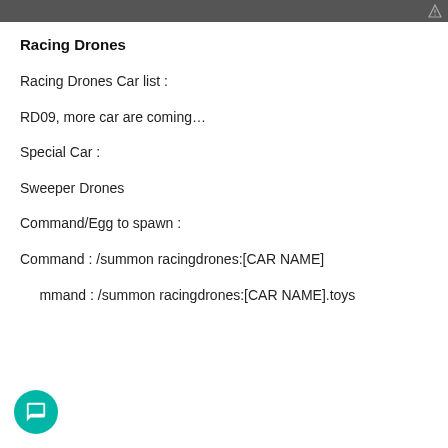[Figure (photo): Dark/grayscale image strip at the top of the page with a small warning triangle icon on the right side]
Racing Drones
Racing Drones Car list :
RD09, more car are coming…
Special Car :
Sweeper Drones
Command/Egg to spawn :
Command : /summon racingdrones:[CAR NAME]
Command : /summon racingdrones:[CAR NAME].toys